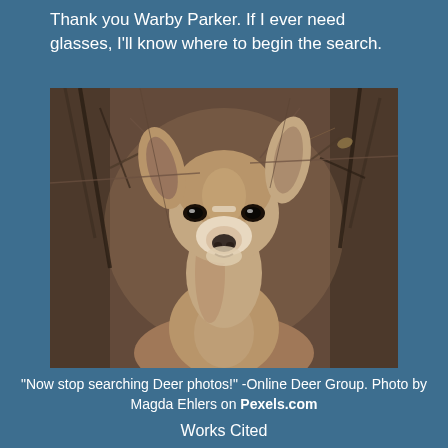Thank you Warby Parker. If I ever need glasses, I'll know where to begin the search.
[Figure (photo): Close-up photo of a young deer (kudu or similar antelope) looking directly at the camera, surrounded by bare branches and twigs in a dry woodland setting. The deer has large upright ears, brown/tan fur, and a white muzzle.]
"Now stop searching Deer photos!" -Online Deer Group. Photo by Magda Ehlers on Pexels.com
Works Cited